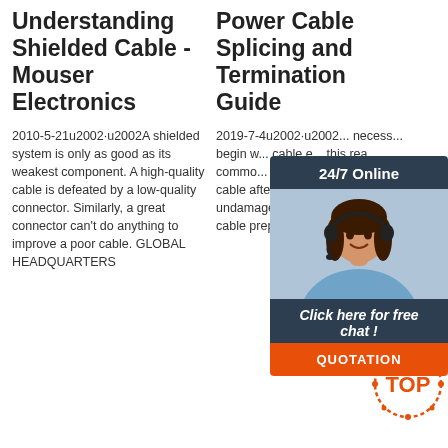Understanding Shielded Cable - Mouser Electronics
2010-5-21u2002·u2002A shielded system is only as good as its weakest component. A high-quality cable is defeated by a low-quality connector. Similarly, a great connector can't do anything to improve a poor cable. GLOBAL HEADQUARTERS
Power Cable Splicing and Termination Guide
2019-7-4u2002·u2002... necessary to begin with cable end ... this reason, common ... to cut off a portion of cable after pulling to assure an undamaged end. A key to good cable preparation is the
[Figure (infographic): 24/7 Online chat widget with photo of a woman wearing a headset, dark blue background header saying '24/7 Online', subtext 'Click here for free chat!', and orange button labeled 'QUOTATION']
[Figure (logo): Orange and red 'TOP' stamp logo with dotted circular border]